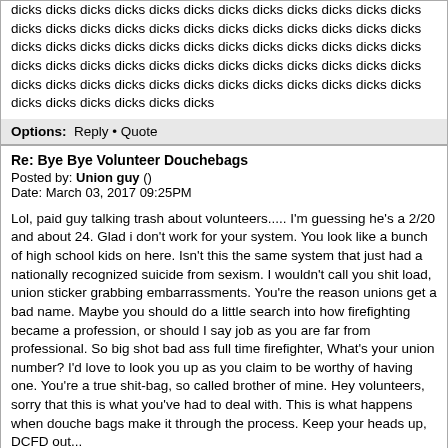dicks dicks dicks dicks dicks dicks dicks dicks dicks dicks dicks dicks dicks dicks dicks dicks dicks dicks dicks dicks dicks dicks dicks dicks dicks dicks dicks dicks dicks dicks dicks dicks dicks dicks dicks dicks dicks dicks dicks dicks dicks dicks dicks dicks dicks dicks dicks dicks dicks dicks dicks dicks dicks dicks dicks dicks dicks dicks dicks dicks dicks dicks dicks dicks dicks dicks dicks dicks dicks dicks dicks dicks dicks dicks dicks
Options: Reply • Quote
Re: Bye Bye Volunteer Douchebags
Posted by: Union guy ()
Date: March 03, 2017 09:25PM
Lol, paid guy talking trash about volunteers..... I'm guessing he's a 2/20 and about 24. Glad i don't work for your system. You look like a bunch of high school kids on here. Isn't this the same system that just had a nationally recognized suicide from sexism. I wouldn't call you shit load, union sticker grabbing embarrassments. You're the reason unions get a bad name. Maybe you should do a little search into how firefighting became a profession, or should I say job as you are far from professional. So big shot bad ass full time firefighter, What's your union number? I'd love to look you up as you claim to be worthy of having one. You're a true shit-bag, so called brother of mine. Hey volunteers, sorry that this is what you've had to deal with. This is what happens when douche bags make it through the process. Keep your heads up, DCFD out...
Options: Reply • Quote
Re: Bye Bye Volunteer Douchebags
Posted by: Jdhdhdhd ()
Date: March 03, 2017 09:52PM